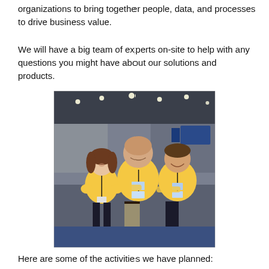organizations to bring together people, data, and processes to drive business value.
We will have a big team of experts on-site to help with any questions you might have about our solutions and products.
[Figure (photo): Three people wearing yellow polo shirts and conference lanyards posing together at a convention/trade show floor. Two men and one woman smiling at the camera, with exhibition booths visible in the background.]
Here are some of the activities we have planned: